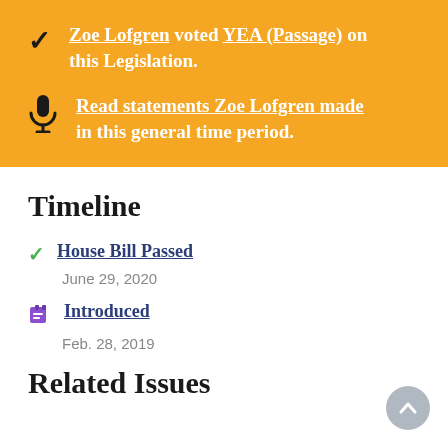Zoe Lofgren voted YEA (Passage) on this Legislation.
Read statements Zoe Lofgren made in this general time period.
Timeline
House Bill Passed — June 29, 2020
Introduced — Feb. 28, 2019
Related Issues